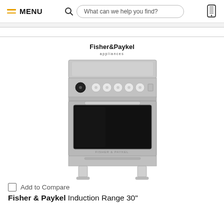MENU  |  What can we help you find?
[Figure (photo): Fisher & Paykel Induction Range 30 inch stainless steel appliance with black glass oven window and control knobs on front panel, Fisher & Paykel Appliances logo above]
Add to Compare
Fisher & Paykel Induction Range 30"